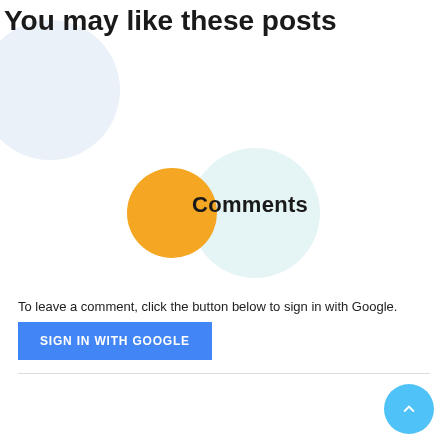You may like these posts
[Figure (illustration): Light blue circle in top-left area, partially cropped]
[Figure (illustration): Light teal circle overlapping with an orange circle, with 'Comments' text label]
To leave a comment, click the button below to sign in with Google.
[Figure (other): Blue 'SIGN IN WITH GOOGLE' button]
[Figure (other): Light blue circular scroll-to-top button with upward chevron arrow in bottom-right corner]